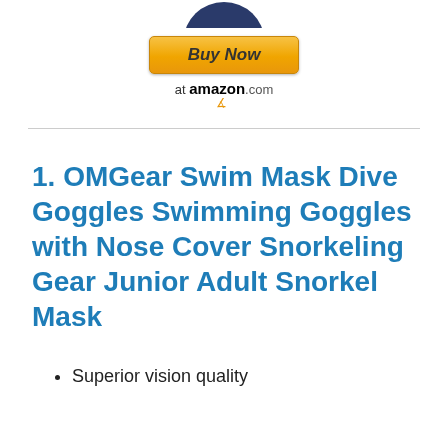[Figure (other): Partial product image of swim mask/goggles shown at top of page, cropped]
[Figure (other): Buy Now at amazon.com button with orange gradient background and Amazon smile logo beneath]
1. OMGear Swim Mask Dive Goggles Swimming Goggles with Nose Cover Snorkeling Gear Junior Adult Snorkel Mask
Superior vision quality